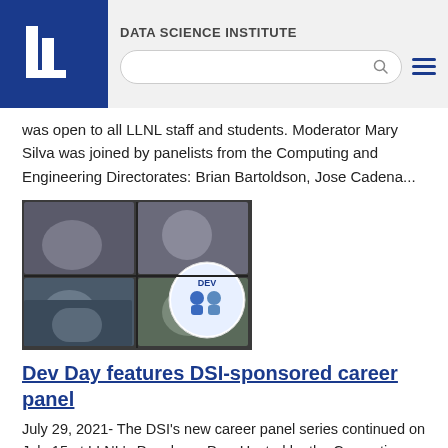DATA SCIENCE INSTITUTE
was open to all LLNL staff and students. Moderator Mary Silva was joined by panelists from the Computing and Engineering Directorates: Brian Bartoldson, Jose Cadena...
[Figure (photo): Screenshot of a video conference call with multiple participants visible in grid layout, alongside a circular DEV Day logo badge with illustrated characters.]
Dev Day features DSI-sponsored career panel
July 29, 2021- The DSI's new career panel series continued on July 15 at LLNL's Developer Day. Hosted by the Computing Directorate, the panelists discussed their career journeys and how they stay on top of the latest software technologies. “Throughout the past 16 months, it has been exceptionally challenging to feel connected with peers across the Lab,” said